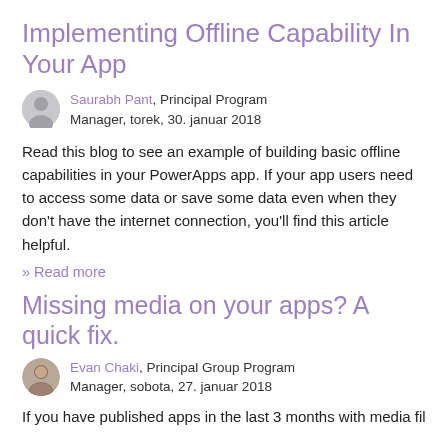Implementing Offline Capability In Your App
Saurabh Pant, Principal Program Manager, torek, 30. januar 2018
Read this blog to see an example of building basic offline capabilities in your PowerApps app. If your app users need to access some data or save some data even when they don't have the internet connection, you'll find this article helpful.
» Read more
Missing media on your apps? A quick fix.
Evan Chaki, Principal Group Program Manager, sobota, 27. januar 2018
If you have published apps in the last 3 months with media fil...